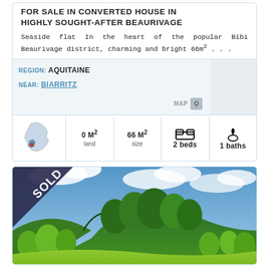FOR SALE IN CONVERTED HOUSE IN HIGHLY SOUGHT-AFTER BEAURIVAGE
Seaside flat In the heart of the popular Bibi Beaurivage district, charming and bright 66m² . . .
REGION: AQUITAINE
NEAR: BIARRITZ
MAP
[Figure (map): France map with Aquitaine region highlighted in blue and red marker for Biarritz]
0 M² land
66 M² size
2 beds
1 baths
[Figure (photo): Landscape photo with SOLD banner in top-left corner. Green hills, trees, blue sky with clouds, and green meadow in foreground.]